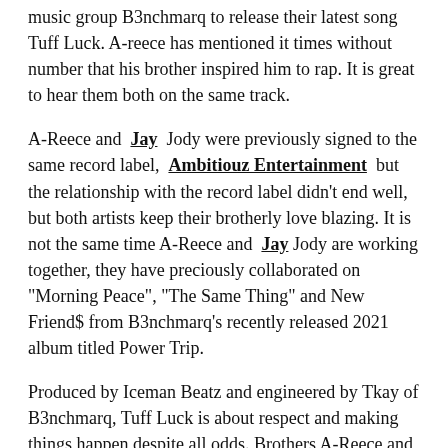music group B3nchmarq to release their latest song Tuff Luck. A-reece has mentioned it times without number that his brother inspired him to rap. It is great to hear them both on the same track.
A-Reece and Jay Jody were previously signed to the same record label, Ambitiouz Entertainment but the relationship with the record label didn't end well, but both artists keep their brotherly love blazing. It is not the same time A-Reece and Jay Jody are working together, they have preciously collaborated on "Morning Peace", "The Same Thing" and New Friend$ from B3nchmarq's recently released 2021 album titled Power Trip.
Produced by Iceman Beatz and engineered by Tkay of B3nchmarq, Tuff Luck is about respect and making things happen despite all odds. Brothers A-Reece and Jay Jody are in this hip-hop tune saying that what they have achieved is not by luck and they deserve the industry respect for how far they have come despite all hates. B3nchmarq's "Power Trip" album and A-